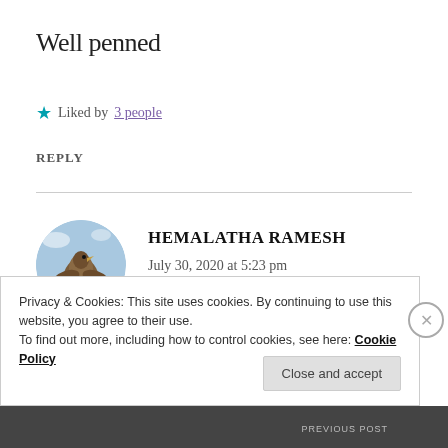Well penned
★ Liked by 3 people
REPLY
[Figure (photo): Circular avatar photo of Hemalatha Ramesh showing a bird against a blue sky background]
HEMALATHA RAMESH
July 30, 2020 at 5:23 pm
Thank you Dear ❤
Privacy & Cookies: This site uses cookies. By continuing to use this website, you agree to their use.
To find out more, including how to control cookies, see here: Cookie Policy
Close and accept